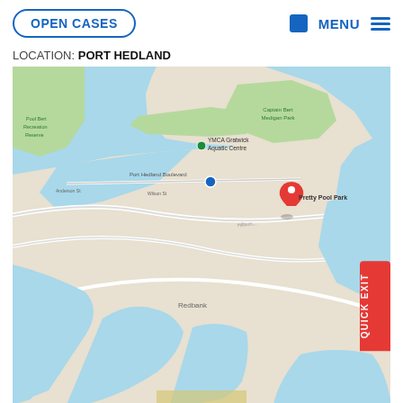OPEN CASES | MENU
LOCATION: PORT HEDLAND
[Figure (map): Google Maps view of Port Hedland, Western Australia, showing coastline, waterways, Pretty Pool Park marked with a red pin, YMCA Gratwick Aquatic Centre, Captain Bert Medigan Park, Port Hedland Boulevard, and Redbank area. A Quick Exit button appears on the right side.]